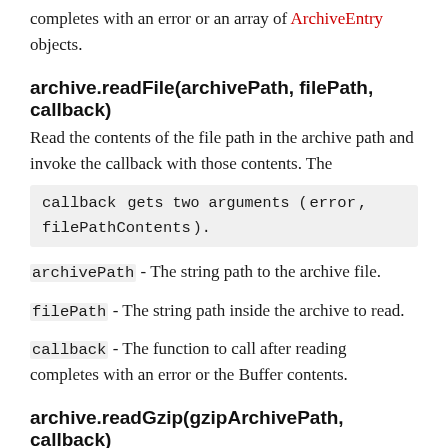completes with an error or an array of ArchiveEntry objects.
archive.readFile(archivePath, filePath, callback)
Read the contents of the file path in the archive path and invoke the callback with those contents. The callback gets two arguments (error, filePathContents).
archivePath - The string path to the archive file.
filePath - The string path inside the archive to read.
callback - The function to call after reading completes with an error or the Buffer contents.
archive.readGzip(gzipArchivePath, callback)